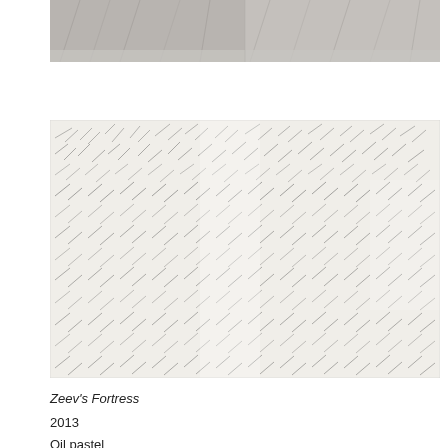[Figure (photo): Top cropped portion of an artwork showing a grey textured surface with diagonal lines, appearing to be the bottom edge of a large artwork photographed in a gallery setting with grey floor visible]
[Figure (photo): Large artwork 'Zeev's Fortress' showing dense horizontal and diagonal gestural marks in oil pastel on white/light background, creating a layered pattern of dark marks across the entire surface, photographed straight-on in a gallery]
Zeev's Fortress
2013
Oil pastel
278 x 420 cm